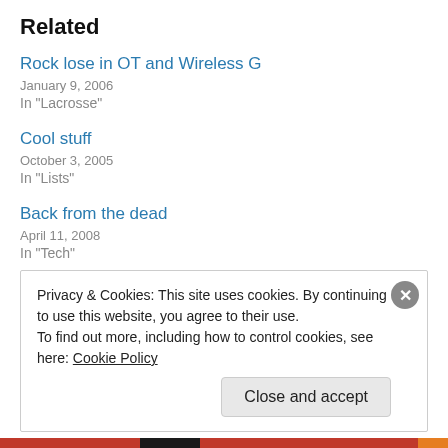Related
Rock lose in OT and Wireless G
January 9, 2006
In "Lacrosse"
Cool stuff
October 3, 2005
In "Lists"
Back from the dead
April 11, 2008
In "Tech"
Privacy & Cookies: This site uses cookies. By continuing to use this website, you agree to their use.
To find out more, including how to control cookies, see here: Cookie Policy